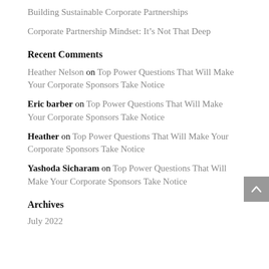Building Sustainable Corporate Partnerships
Corporate Partnership Mindset: It’s Not That Deep
Recent Comments
Heather Nelson on Top Power Questions That Will Make Your Corporate Sponsors Take Notice
Eric barber on Top Power Questions That Will Make Your Corporate Sponsors Take Notice
Heather on Top Power Questions That Will Make Your Corporate Sponsors Take Notice
Yashoda Sicharam on Top Power Questions That Will Make Your Corporate Sponsors Take Notice
Archives
July 2022